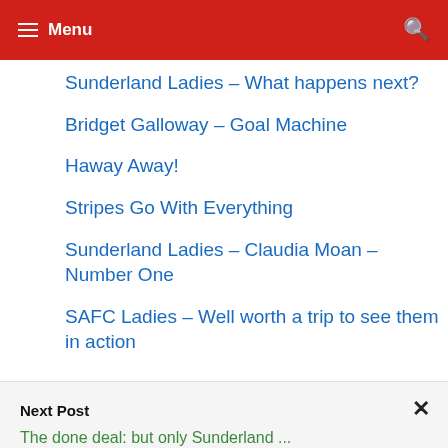Menu
Sunderland Ladies – What happens next?
Bridget Galloway – Goal Machine
Haway Away!
Stripes Go With Everything
Sunderland Ladies – Claudia Moan – Number One
SAFC Ladies – Well worth a trip to see them in action
Next Post
The done deal: but only Sunderland ...